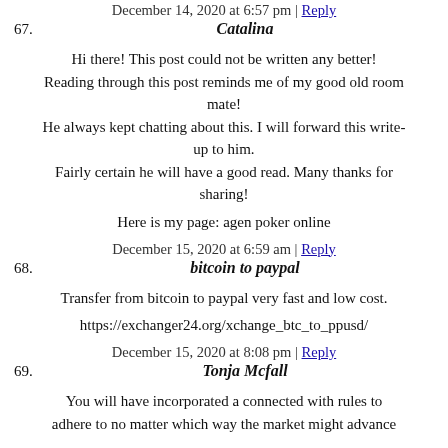December 14, 2020 at 6:57 pm | Reply
67. Catalina
Hi there! This post could not be written any better! Reading through this post reminds me of my good old room mate! He always kept chatting about this. I will forward this write-up to him. Fairly certain he will have a good read. Many thanks for sharing!
Here is my page: agen poker online
December 15, 2020 at 6:59 am | Reply
68. bitcoin to paypal
Transfer from bitcoin to paypal very fast and low cost.
https://exchanger24.org/xchange_btc_to_ppusd/
December 15, 2020 at 8:08 pm | Reply
69. Tonja Mcfall
You will have incorporated a connected with rules to adhere to no matter which way the market might advance